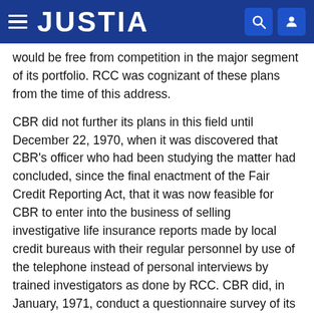JUSTIA
would be free from competition in the major segment of its portfolio. RCC was cognizant of these plans from the time of this address.
CBR did not further its plans in this field until December 22, 1970, when it was discovered that CBR's officer who had been studying the matter had concluded, since the final enactment of the Fair Credit Reporting Act, that it was now feasible for CBR to enter into the business of selling investigative life insurance reports made by local credit bureaus with their regular personnel by use of the telephone instead of personal interviews by trained investigators as done by RCC. CBR did, in January, 1971, conduct a questionnaire survey of its local credit bureau members as to whether they would be favorably disposed to participating in this new service sold by CBR including specialized reports *789 for insurance